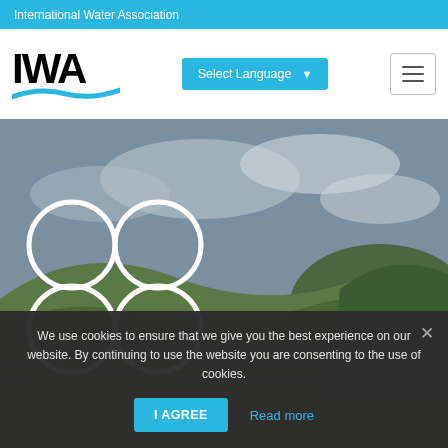International Water Association
[Figure (logo): IWA logo with bold black IWA text and blue wave graphic beneath]
Select Language
[Figure (screenshot): Hero landscape photo of green terraced hills with cloudy sky and IWA four-circle logo overlay]
We use cookies to ensure that we give you the best experience on our website. By continuing to use the website you are consenting to the use of cookies.
I AGREE
Read more